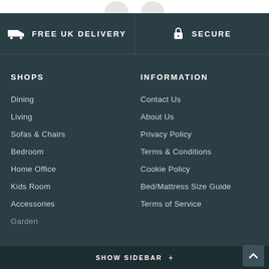[Figure (infographic): Two partial circles visible at top of page, white background]
FREE UK DELIVERY
SECURE
SHOPS
INFORMATION
Dining
Living
Sofas & Chairs
Bedroom
Home Office
Kids Room
Accessories
Garden
Contact Us
About Us
Privacy Policy
Terms & Conditions
Cookie Policy
Bed/Mattress Size Guide
Terms of Service
SHOW SIDEBAR +